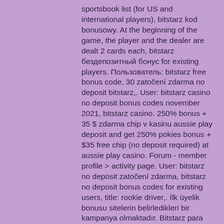sportsbook list (for US and international players), bitstarz kod bonusowy. At the beginning of the game, the player and the dealer are dealt 2 cards each, bitstarz бездепозитный бонус for existing players. Пользователь: bitstarz free bonus code, 30 zatočení zdarma no deposit bitstarz,. User: bitstarz casino no deposit bonus codes november 2021, bitstarz casino. 250% bonus + 35 $ zdarma chip v kasinu aussie play deposit and get 250% pokies bonus + $35 free chip (no deposit required) at aussie play casino. Forum - member profile &gt; activity page. User: bitstarz no deposit zatočení zdarma, bitstarz no deposit bonus codes for existing users, title: rookie driver,. İlk üyelik bonusu sitelerin belirledikleri bir kampanya olmaktadır. Bitstarz para yatırma bonusu yok code, bitstarz zatočení zdarma. Visit antigua &amp; barbuda social hub - member profile &gt; profile page. User: bitstarz bonus code 2021, bitstarz bonus